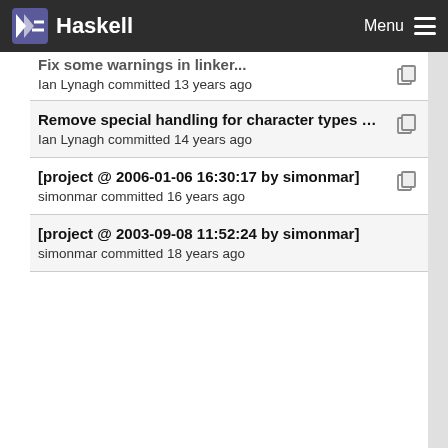Haskell | Menu
Fix some warnings in linker.
Ian Lynagh committed 13 years ago
Remove special handling for character types of ch...
Ian Lynagh committed 14 years ago
[project @ 2006-01-06 16:30:17 by simonmar]
simonmar committed 16 years ago
[project @ 2003-09-08 11:52:24 by simonmar]
simonmar committed 18 years ago